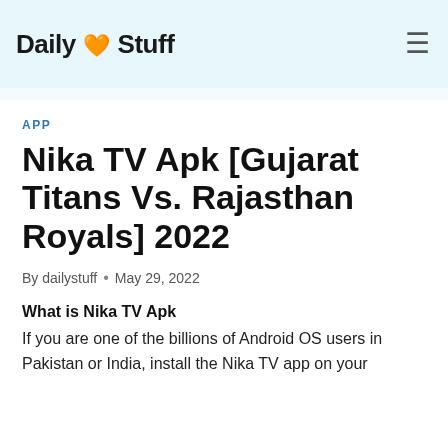Daily 2 Stuff
APP
Nika TV Apk [Gujarat Titans Vs. Rajasthan Royals] 2022
By dailystuff • May 29, 2022
What is Nika TV Apk
If you are one of the billions of Android OS users in Pakistan or India, install the Nika TV app on your